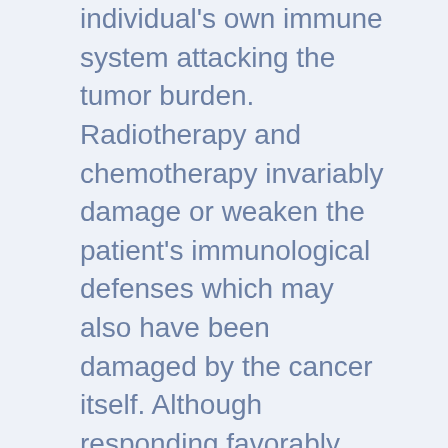individual's own immune system attacking the tumor burden. Radiotherapy and chemotherapy invariably damage or weaken the patient's immunological defenses which may also have been damaged by the cancer itself. Although responding favorably, cancer patients are in danger of opportunistic infections that can invade their systems because unfortunately the therapy designed to kill the pathogenic cells also kills